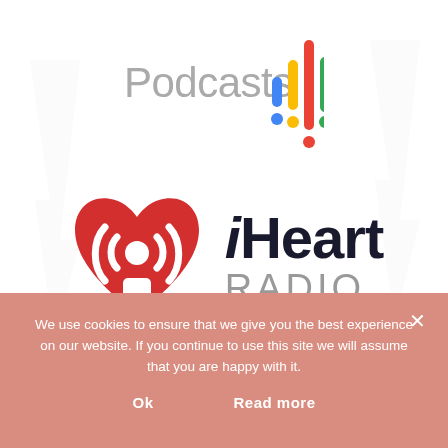[Figure (logo): Google Podcasts logo — text 'Podcasts' in gray with colorful audio bars icon to the right (red, blue, green, yellow bars of varying heights)]
[Figure (logo): iHeartRadio logo — red heart shape with radio wave arcs on left, bold dark text 'iHeart' and gray 'RADIO' on right]
We use cookies to ensure that we give you the best experience on our website. If you continue to use this site we will assume that you are happy with it.
Ok   Read more